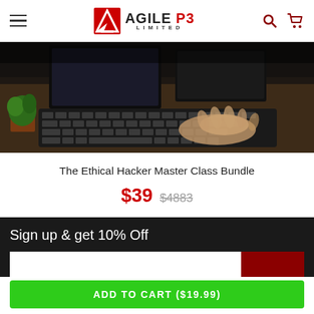[Figure (logo): Agile P3 Limited logo with red geometric A icon, black AGILE text, red P3 text, and LIMITED subtitle]
[Figure (photo): Person typing on a keyboard at a desk with a monitor, plant, and dark moody lighting — product hero image for Ethical Hacker course]
The Ethical Hacker Master Class Bundle
$39  $4883
Sign up & get 10% Off
ADD TO CART ($19.99)